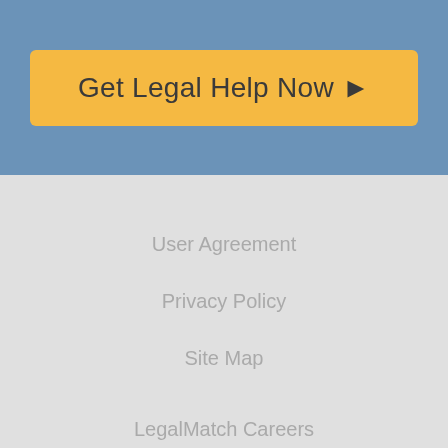[Figure (other): Orange/yellow button with text 'Get Legal Help Now ▷' on a steel-blue background banner]
User Agreement
Privacy Policy
Site Map
LegalMatch Careers
[Figure (logo): TRUSTe Certified Privacy Powered by TrustArc badge — white rounded rectangle with green 'e' logo icon on left and text 'TRUSTe Certified Privacy Powered by TrustArc' on right]